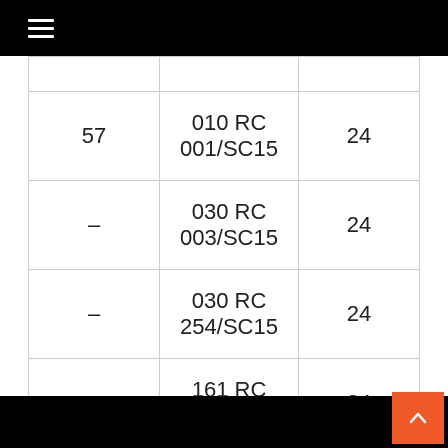≡
| 57 | 010 RC 001/SC15 | 24 |
| – | 030 RC 003/SC15 | 24 |
| – | 030 RC 254/SC15 | 24 |
| – | 161 RC 155/SC15 | 24 |
| 61 | 010 RC 391/SC15 | 14 |